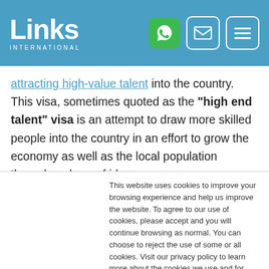Links International — header with WhatsApp, email, and menu icons
attracting high-value talent into the country. This visa, sometimes quoted as the "high end talent" visa is an attempt to draw more skilled people into the country in an effort to grow the economy as well as the local population through a share of ideas.
Eligible applicants include nobel prize winners,
This website uses cookies to improve your browsing experience and help us improve the website. To agree to our use of cookies, please accept and you will continue browsing as normal. You can choose to reject the use of some or all cookies. Visit our privacy policy to learn more about the cookies we use and for information about how to change your preferences. Find out more.